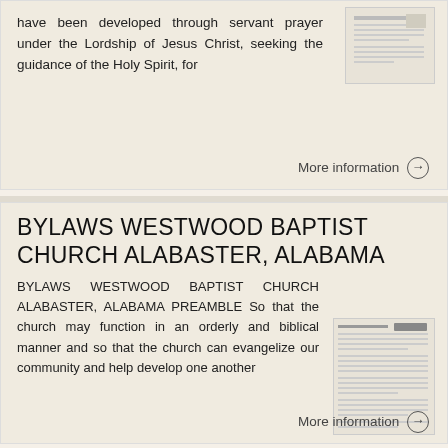have been developed through servant prayer under the Lordship of Jesus Christ, seeking the guidance of the Holy Spirit, for
More information →
BYLAWS WESTWOOD BAPTIST CHURCH ALABASTER, ALABAMA
BYLAWS WESTWOOD BAPTIST CHURCH ALABASTER, ALABAMA PREAMBLE So that the church may function in an orderly and biblical manner and so that the church can evangelize our community and help develop one another
More information →
A. There is one God, eternally existing in three persons-the Father, the Son and the